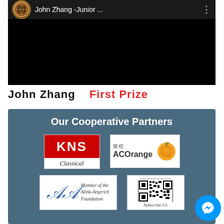[Figure (screenshot): Video thumbnail with channel logo (globe/crest icon), title 'John Zhang -Junior ...' and three-dot menu button on dark bar, below is black video area]
John Zhang    First Prize
[Figure (infographic): Blue-grey panel titled 'Our Cooperative Partners' showing logos: KNS Classical, ACOrange, Alink-Argerich Foundation, and a QR code with 'Subscribe Us']